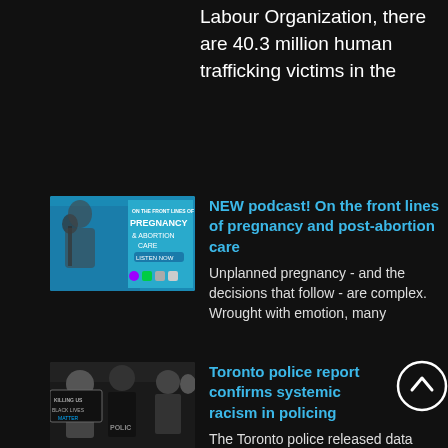Labour Organization, there are 40.3 million human trafficking victims in the
[Figure (photo): Podcast thumbnail showing a person at a microphone with text 'On the Front Lines of Pregnancy & Abortion Care']
NEW podcast! On the front lines of pregnancy and post-abortion care
Unplanned pregnancy - and the decisions that follow - are complex. Wrought with emotion, many
[Figure (photo): Photo of a protest scene with police and protesters, one holding a sign]
Toronto police report confirms systemic racism in policing
The Toronto police released data proving that use of force is used more often with